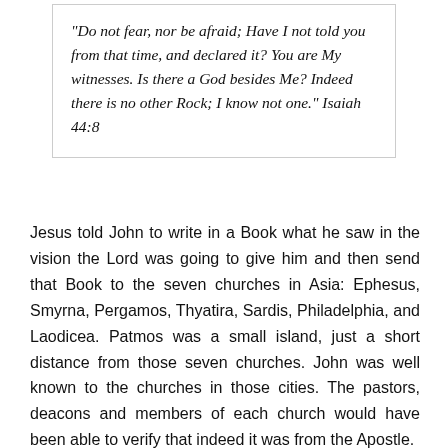“Do not fear, nor be afraid; Have I not told you from that time, and declared it? You are My witnesses. Is there a God besides Me? Indeed there is no other Rock; I know not one.” Isaiah 44:8
Jesus told John to write in a Book what he saw in the vision the Lord was going to give him and then send that Book to the seven churches in Asia: Ephesus, Smyrna, Pergamos, Thyatira, Sardis, Philadelphia, and Laodicea. Patmos was a small island, just a short distance from those seven churches. John was well known to the churches in those cities. The pastors, deacons and members of each church would have been able to verify that indeed it was from the Apostle.